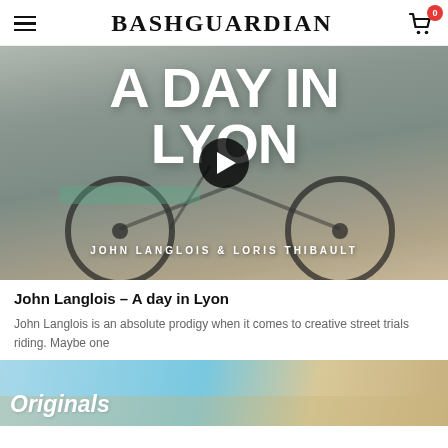BASHGUARDIAN
[Figure (screenshot): Video thumbnail showing two cyclists with BMX bikes walking in an urban setting. Large white bold text overlaid reads 'A DAY IN LYON' with a play button in the center. Subtitle reads 'JOHN LANGLOIS & LORIS THIBAULT'.]
John Langlois – A day in Lyon
John Langlois is an absolute prodigy when it comes to creative street trials riding. Maybe one
[Figure (screenshot): Partial view of a second article thumbnail with light blue sky background. White italic bold text reads 'Originals'.]